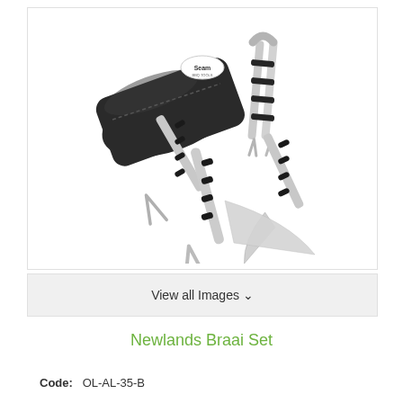[Figure (photo): Product photo of a Newlands Braai Set showing a black zip case with a brand logo, and three stainless steel BBQ tools (tongs, fork, and knife) with black accent rings on the handles, displayed on a white background.]
View all Images ✓
Newlands Braai Set
Code:  OL-AL-35-B